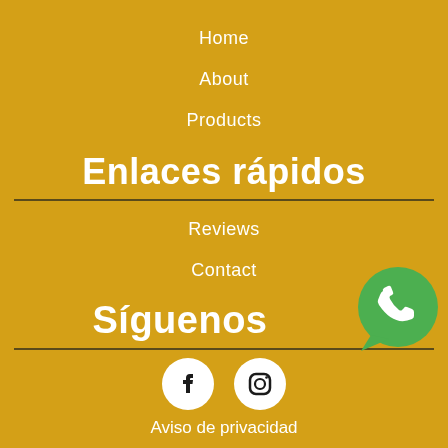Home
About
Products
Enlaces rápidos
Reviews
Contact
Síguenos
[Figure (logo): WhatsApp green logo icon]
[Figure (logo): Facebook white icon on white circle]
[Figure (logo): Instagram white icon on white circle]
Aviso de privacidad